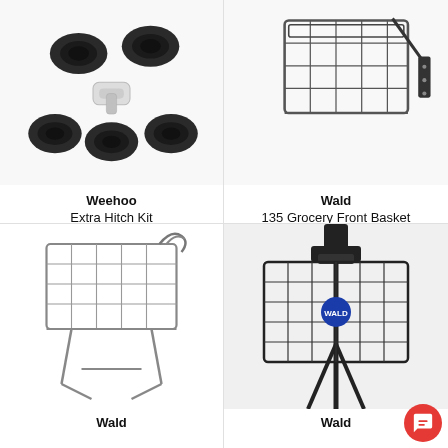[Figure (photo): Weehoo Extra Hitch Kit - black rubber bushings and white/silver connector piece on white background]
Weehoo
Extra Hitch Kit
$99.99
[Figure (photo): Wald 135 Grocery Front Basket - wire metal front bike basket with mounting hardware]
Wald
135 Grocery Front Basket
$39.99
[Figure (photo): Wald wire basket with chrome finish and mounting brackets/rack stand]
Wald
[Figure (photo): Wald black wire front bike basket mounted on bike fork with Wald logo badge]
Wald